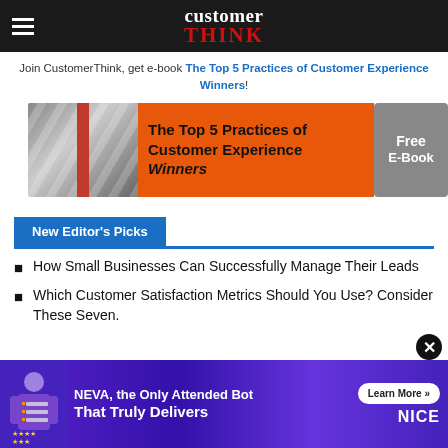customer THINK
Join CustomerThink, get e-book The Top 5 Practices of Customer Experience Winners!
[Figure (infographic): Banner for 'The Top 5 Practices of Customer Experience Winners' free e-book with orange background and arrows graphic]
New Editor's Picks
How Small Businesses Can Successfully Manage Their Leads
Which Customer Satisfaction Metrics Should You Use? Consider These Seven.
[Figure (infographic): NEVA, the Only Attended Bot That Truly Delivers — NICE advertisement banner with purple gradient background]